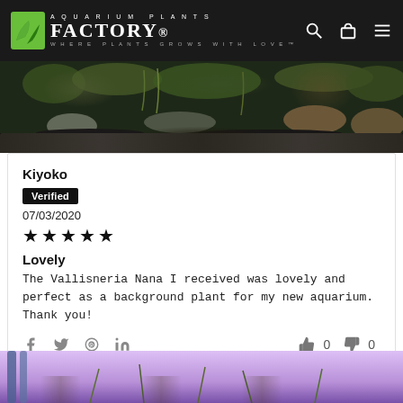AQUARIUM PLANTS FACTORY. WHERE PLANTS GROWS WITH LOVE™
[Figure (photo): Top portion of an aquarium tank showing green aquatic plants, rocks, and dark substrate from a side view]
Kiyoko
Verified
07/03/2020
★★★★★
Lovely
The Vallisneria Nana I received was lovely and perfect as a background plant for my new aquarium. Thank you!
[Figure (photo): Bottom portion showing an aquarium with purple/violet lighting, plant stalks visible]